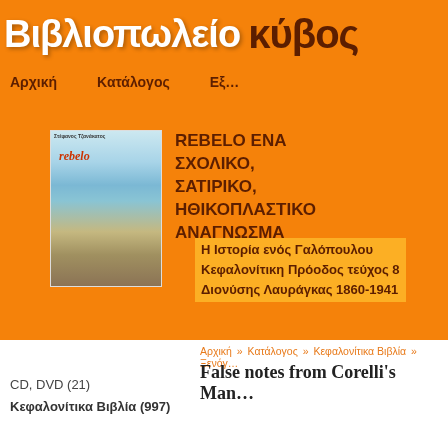Βιβλιοπωλείο κύβος
Αρχική   Κατάλογος   Εξ…
[Figure (photo): Book cover for 'rebelo' showing a coastal landscape with sky and sand dunes]
REBELO ΕΝΑ ΣΧΟΛΙΚΟ, ΣΑΤΙΡΙΚΟ, ΗΘΙΚΟΠΛΑΣΤΙΚΟ ΑΝΑΓΝΩΣΜΑ
Η Ιστορία ενός Γαλόπουλου
Κεφαλονίτικη Πρόοδος τεύχος 8
Διονύσης Λαυράγκας 1860-1941
Αρχική » Κατάλογος » Κεφαλονίτικα Βιβλία » Ξενόγ…
False notes from Corelli's Man…
CD, DVD (21)
Κεφαλονίτικα Βιβλία (997)